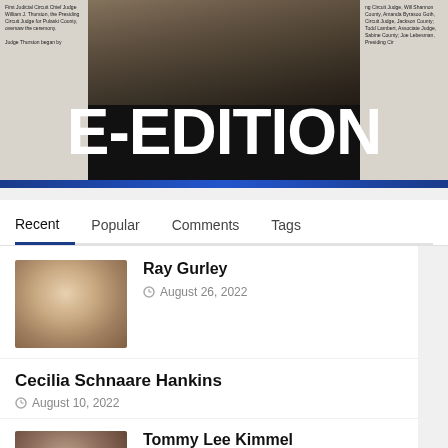[Figure (screenshot): Newspaper front page banner with large white 'E-EDITION' text overlaid on dark background. Left column shows text about First Judicial Circuit Chief Judge William J. Thurston. Right column shows text about Circuit Judge, Will Shannon County, Amanda Byrason Goth, Todd Lambert, Joe Lebesman. Center shows a photo of people in dark robes.]
[Figure (other): Navigation tabs: Recent (active), Popular, Comments, Tags]
[Figure (photo): Thumbnail photo of Ray Gurley - older man with glasses and light blue shirt]
Ray Gurley
August 26, 2022
Cecilia Schnaare Hankins
August 10, 2022
[Figure (photo): Thumbnail photo of Tommy Lee Kimmel - man with dark features]
Tommy Lee Kimmel
August 3, 2022